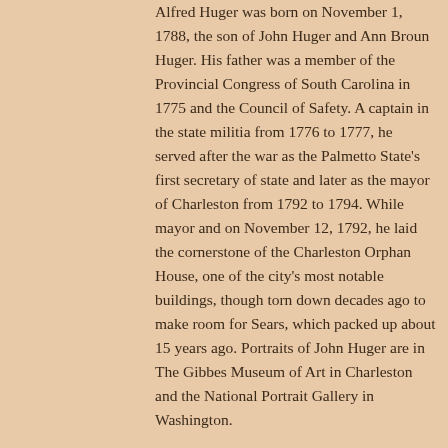Alfred Huger was born on November 1, 1788, the son of John Huger and Ann Broun Huger. His father was a member of the Provincial Congress of South Carolina in 1775 and the Council of Safety. A captain in the state militia from 1776 to 1777, he served after the war as the Palmetto State's first secretary of state and later as the mayor of Charleston from 1792 to 1794. While mayor and on November 12, 1792, he laid the cornerstone of the Charleston Orphan House, one of the city's most notable buildings, though torn down decades ago to make room for Sears, which packed up about 15 years ago. Portraits of John Huger are in The Gibbes Museum of Art in Charleston and the National Portrait Gallery in Washington.
After graduating from Princeton, young Alfred Huger returned to Charleston and studied law.